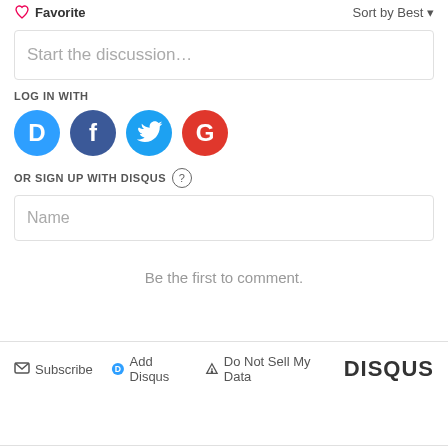Favorite
Sort by Best
Start the discussion...
LOG IN WITH
[Figure (illustration): Social login icons: Disqus (blue circle with D), Facebook (dark blue circle with f), Twitter (light blue circle with bird), Google (red circle with G)]
OR SIGN UP WITH DISQUS ?
Name
Be the first to comment.
Subscribe  Add Disqus  Do Not Sell My Data  DISQUS